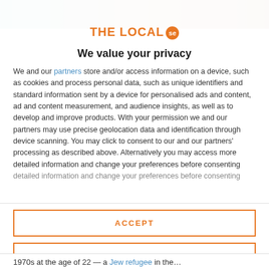[Figure (photo): Partial photo strip at top of page, showing blurred faces/background in teal and orange tones]
THE LOCAL se
We value your privacy
We and our partners store and/or access information on a device, such as cookies and process personal data, such as unique identifiers and standard information sent by a device for personalised ads and content, ad and content measurement, and audience insights, as well as to develop and improve products. With your permission we and our partners may use precise geolocation data and identification through device scanning. You may click to consent to our and our partners' processing as described above. Alternatively you may access more detailed information and change your preferences before consenting
ACCEPT
MORE OPTIONS
1970s at the age of 22 — a Jew refugee in the…